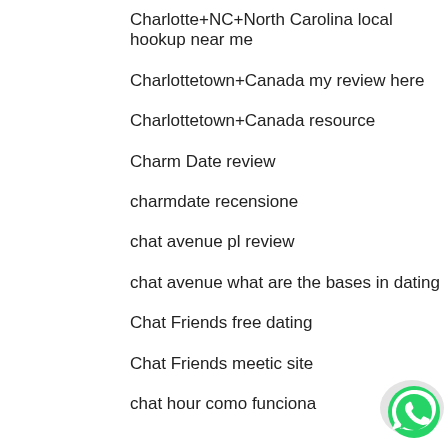Charlotte+NC+North Carolina local hookup near me
Charlottetown+Canada my review here
Charlottetown+Canada resource
Charm Date review
charmdate recensione
chat avenue pl review
chat avenue what are the bases in dating
Chat Friends free dating
Chat Friends meetic site
chat hour como funciona
[Figure (logo): WhatsApp green circular icon button in bottom-right corner]